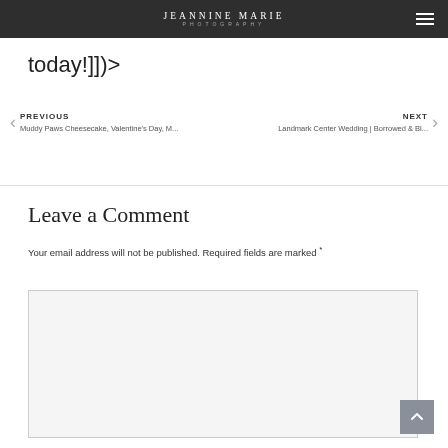JEANNINE MARIE PHOTOGRAPHY
today!]])>
PREVIOUS
Muddy Paws Cheesecake, Valentine's Day, M...
NEXT
Landmark Center Wedding | Borrowed & Bl...
Leave a Comment
Your email address will not be published. Required fields are marked *
Type here..